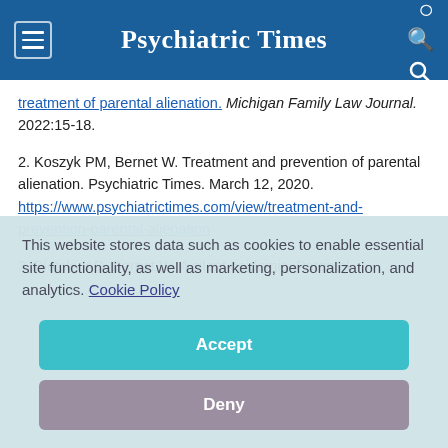Psychiatric Times
treatment of parental alienation. Michigan Family Law Journal. 2022:15-18.
2. Koszyk PM, Bernet W. Treatment and prevention of parental alienation. Psychiatric Times. March 12, 2020. https://www.psychiatrictimes.com/view/treatment-and-prevention-parental-alienation
3. Blotcky AD, Bernet W. A silent epidemic: Parental
This website stores data such as cookies to enable essential site functionality, as well as marketing, personalization, and analytics. Cookie Policy
Accept
Deny